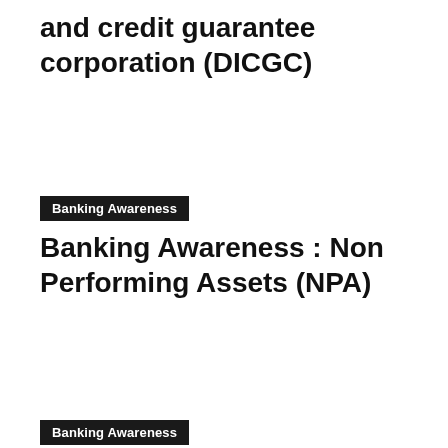and credit guarantee corporation (DICGC)
Banking Awareness
Banking Awareness : Non Performing Assets (NPA)
Banking Awareness